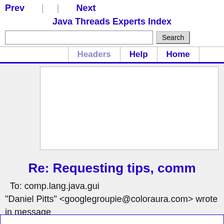Prev | Next | Java Threads Experts Index | Search | Headers | Help | Home
[Figure (other): Advertisement placeholder area (white rectangle)]
Re: Requesting tips, comm
To: comp.lang.java.gui
"Daniel Pitts" <googlegroupie@coloraura.com> wrote in message
news:1174530560.096511.297000@y66g2000hsf.google